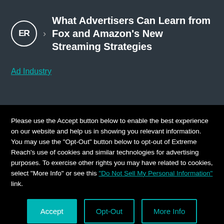ER > What Advertisers Can Learn from Fox and Amazon's New Streaming Strategies
Ad Industry
Please use the Accept button below to enable the best experience on our website and help us in showing you relevant information. You may use the "Opt-Out" button below to opt-out of Extreme Reach's use of cookies and similar technologies for advertising purposes. To exercise other rights you may have related to cookies, select "More Info" or see this "Do Not Sell My Personal Information" link.
Accept | Opt-Out | More Info